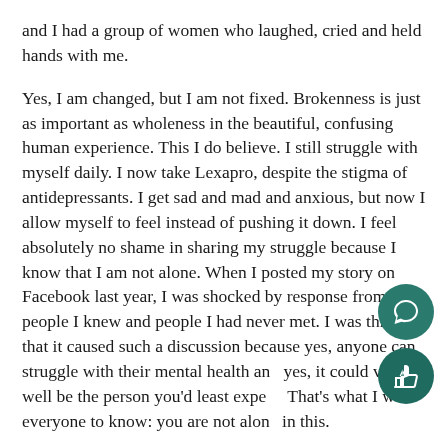and I had a group of women who laughed, cried and held hands with me.
Yes, I am changed, but I am not fixed. Brokenness is just as important as wholeness in the beautiful, confusing human experience. This I do believe. I still struggle with myself daily. I now take Lexapro, despite the stigma of antidepressants. I get sad and mad and anxious, but now I allow myself to feel instead of pushing it down. I feel absolutely no shame in sharing my struggle because I know that I am not alone. When I posted my story on Facebook last year, I was shocked by response from both people I knew and people I had never met. I was thrilled that it caused such a discussion because yes, anyone can struggle with their mental health and yes, it could very well be the person you'd least expe... That's what I want everyone to know: you are not alone in this.
The most important thing I learned is that if I can be...